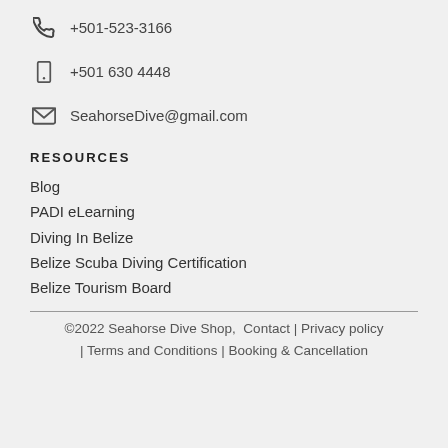+501-523-3166
+501 630 4448
SeahorseDive@gmail.com
RESOURCES
Blog
PADI eLearning
Diving In Belize
Belize Scuba Diving Certification
Belize Tourism Board
©2022 Seahorse Dive Shop,  Contact | Privacy policy | Terms and Conditions | Booking & Cancellation